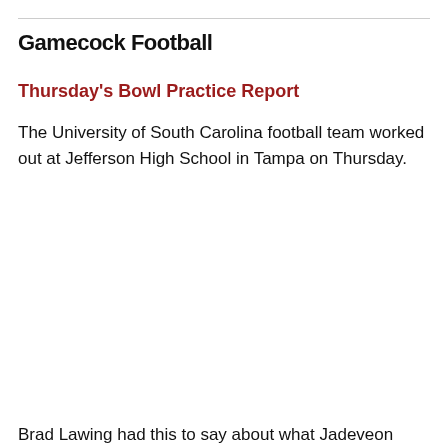Gamecock Football
Thursday's Bowl Practice Report
The University of South Carolina football team worked out at Jefferson High School in Tampa on Thursday.
Brad Lawing had this to say about what Jadeveon